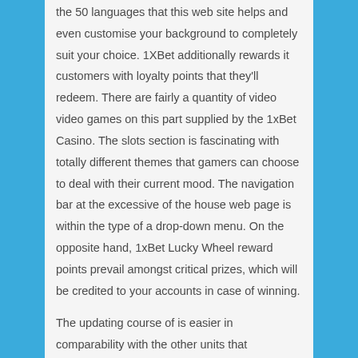the 50 languages that this web site helps and even customise your background to completely suit your choice. 1XBet additionally rewards it customers with loyalty points that they'll redeem. There are fairly a quantity of video video games on this part supplied by the 1xBet Casino. The slots section is fascinating with totally different themes that gamers can choose to deal with their current mood. The navigation bar at the excessive of the house web page is within the type of a drop-down menu. On the opposite hand, 1xBet Lucky Wheel reward points prevail amongst critical prizes, which will be credited to your accounts in case of winning.
The updating course of is easier in comparability with the other units that